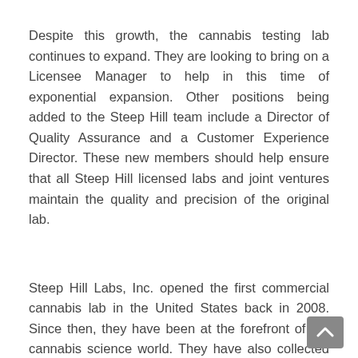Despite this growth, the cannabis testing lab continues to expand. They are looking to bring on a Licensee Manager to help in this time of exponential expansion. Other positions being added to the Steep Hill team include a Director of Quality Assurance and a Customer Experience Director. These new members should help ensure that all Steep Hill licensed labs and joint ventures maintain the quality and precision of the original lab.
Steep Hill Labs, Inc. opened the first commercial cannabis lab in the United States back in 2008. Since then, they have been at the forefront of the cannabis science world. They have also collected an immense amount of analytics and data. This is probably why they are also bringing on a QA manager, UI/UX Designer, and a Software Engineer.